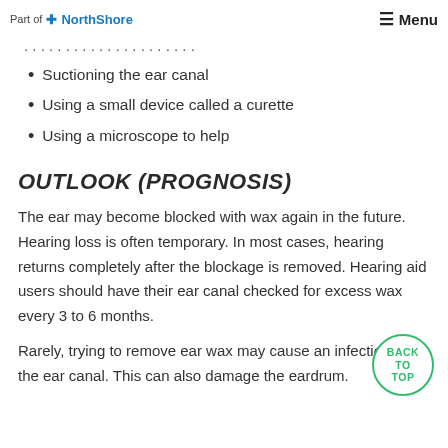Part of NorthShore | Menu
Suctioning the ear canal
Using a small device called a curette
Using a microscope to help
OUTLOOK (PROGNOSIS)
The ear may become blocked with wax again in the future. Hearing loss is often temporary. In most cases, hearing returns completely after the blockage is removed. Hearing aid users should have their ear canal checked for excess wax every 3 to 6 months.
Rarely, trying to remove ear wax may cause an infection in the ear canal. This can also damage the eardrum.